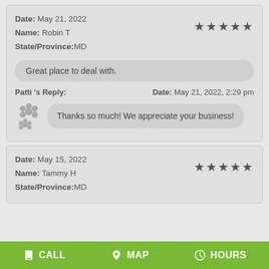Date: May 21, 2022
Name: Robin T
State/Province:MD
★★★★★
Great place to deal with.
Patti 's Reply:   Date: May 21, 2022, 2:29 pm
Thanks so much! We appreciate your business!
Date: May 15, 2022
Name: Tammy H
State/Province:MD
★★★★★
CALL  MAP  HOURS